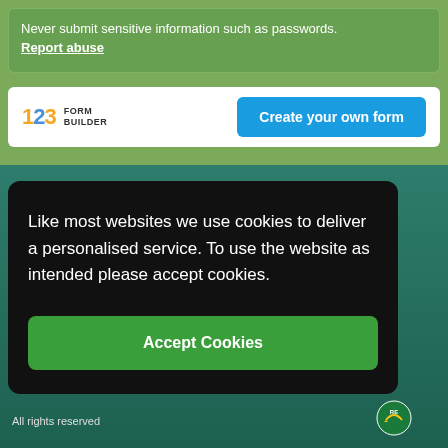Never submit sensitive information such as passwords.
Report abuse
[Figure (logo): 123 Form Builder logo with orange '1', blue '2', orange '3' and text 'FORM BUILDER']
Create your own form
Like most websites we use cookies to deliver a personalised service. To use the website as intended please accept cookies.
Accept Cookies
All rights reserved